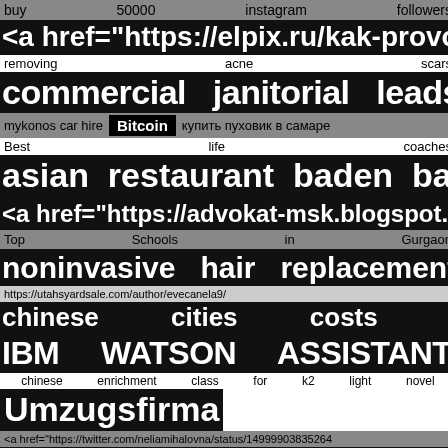buy   50000   instagram   followers
<a href="https://elpix.ru/kak-provoditsja
removing   acne   scars
commercial   janitorial   leads
mykonos car hire   Bitcoin   купить пуховик в самаре
Best   life   coaches
asian   restaurant   baden   baden
<a href="https://advokat-msk.blogspot.c
Top   Schools   in   Gurgaon
noninvasive   hair   replacement
https://utahsyardsale.com/author/evecanela9/
chinese   cities   costs
IBM   WATSON   ASSISTANT
chinese enrichment class for k2 light novel
Umzugsfirma
<a href="https://twitter.com/neliamihalovna/status/14999903835264
wine   curator
<a href="https://twitter.com/Paul77338899/status/15433204632874
BFF   [symbols]   digital   health